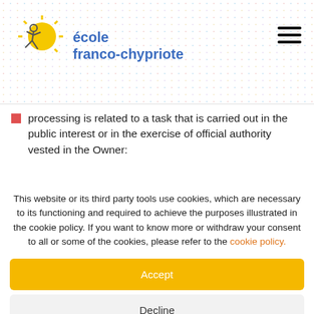[Figure (logo): École franco-chypriote logo with sun and stick figure]
processing is related to a task that is carried out in the public interest or in the exercise of official authority vested in the Owner:
This website or its third party tools use cookies, which are necessary to its functioning and required to achieve the purposes illustrated in the cookie policy. If you want to know more or withdraw your consent to all or some of the cookies, please refer to the cookie policy.
Accept
Decline
Settings
More Info